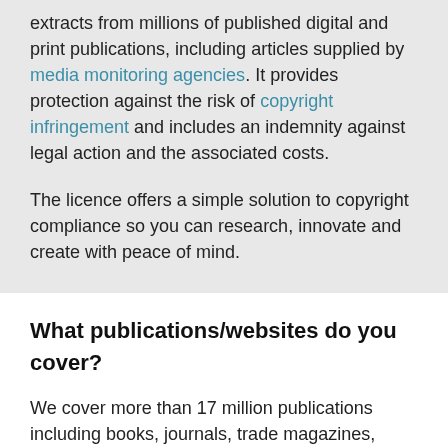extracts from millions of published digital and print publications, including articles supplied by media monitoring agencies. It provides protection against the risk of copyright infringement and includes an indemnity against legal action and the associated costs.
The licence offers a simple solution to copyright compliance so you can research, innovate and create with peace of mind.
What publications/websites do you cover?
We cover more than 17 million publications including books, journals, trade magazines, periodicals, law reports, many digital publications and online content including free-to-view websites.
Because we cover so many titles, and because we update the list all the time, we are unable to provide a full list as it is cumbersome and impractical for customers to use.